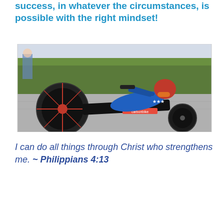success, in whatever the circumstances, is possible with the right mindset!
[Figure (photo): A Paralympic hand cyclist in a blue USA uniform and red helmet riding a low-slung hand cycle (carbonbike) on a road, with green hedges in the background.]
I can do all things through Christ who strengthens me. ~ Philippians 4:13